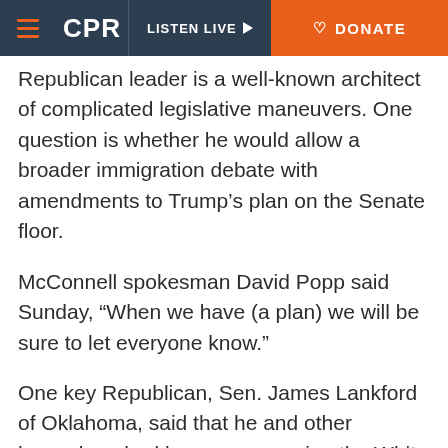CPR | LISTEN LIVE | DONATE
Republican leader is a well-known architect of complicated legislative maneuvers. One question is whether he would allow a broader immigration debate with amendments to Trump's plan on the Senate floor.
McConnell spokesman David Popp said Sunday, “When we have (a plan) we will be sure to let everyone know.”
One key Republican, Sen. James Lankford of Oklahoma, said that he and other lawmakers had been encouraging the White House to put an offer on the table — any offer — to get both sides talking.
“Get something out there the president can say, ‘I